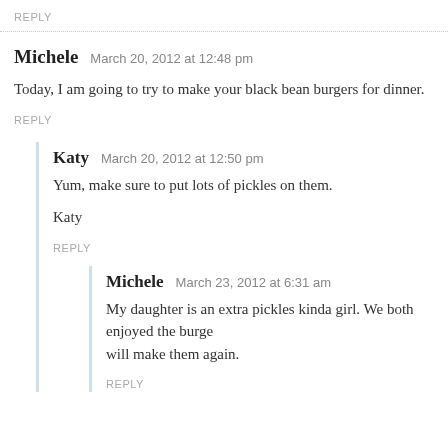REPLY
Michele   March 20, 2012 at 12:48 pm
Today, I am going to try to make your black bean burgers for dinner.
REPLY
Katy   March 20, 2012 at 12:50 pm
Yum, make sure to put lots of pickles on them.
Katy
REPLY
Michele   March 23, 2012 at 6:31 am
My daughter is an extra pickles kinda girl. We both enjoyed the burgers and will make them again.
REPLY